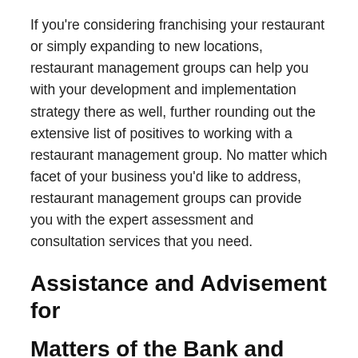If you're considering franchising your restaurant or simply expanding to new locations, restaurant management groups can help you with your development and implementation strategy there as well, further rounding out the extensive list of positives to working with a restaurant management group. No matter which facet of your business you'd like to address, restaurant management groups can provide you with the expert assessment and consultation services that you need.
Assistance and Advisement for Matters of the Bank and Court
The kind of assistance you can receive from restaurant management groups isn't limited to operational